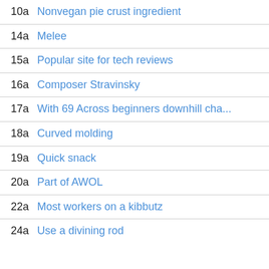10a Nonvegan pie crust ingredient
14a Melee
15a Popular site for tech reviews
16a Composer Stravinsky
17a With 69 Across beginners downhill cha...
18a Curved molding
19a Quick snack
20a Part of AWOL
22a Most workers on a kibbutz
24a Use a divining rod